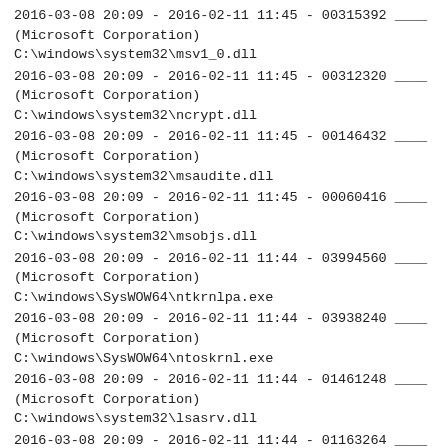2016-03-08 20:09 - 2016-02-11 11:45 - 00315392 ____ (Microsoft Corporation) C:\windows\system32\msv1_0.dll
2016-03-08 20:09 - 2016-02-11 11:45 - 00312320 ____ (Microsoft Corporation) C:\windows\system32\ncrypt.dll
2016-03-08 20:09 - 2016-02-11 11:45 - 00146432 ____ (Microsoft Corporation) C:\windows\system32\msaudite.dll
2016-03-08 20:09 - 2016-02-11 11:45 - 00060416 ____ (Microsoft Corporation) C:\windows\system32\msobjs.dll
2016-03-08 20:09 - 2016-02-11 11:44 - 03994560 ____ (Microsoft Corporation) C:\windows\SysWOW64\ntkrnlpa.exe
2016-03-08 20:09 - 2016-02-11 11:44 - 03938240 ____ (Microsoft Corporation) C:\windows\SysWOW64\ntoskrnl.exe
2016-03-08 20:09 - 2016-02-11 11:44 - 01461248 ____ (Microsoft Corporation) C:\windows\system32\lsasrv.dll
2016-03-08 20:09 - 2016-02-11 11:44 - 01163264 ____ (Microsoft Corporation) C:\windows\system32\kernel32.dll
2016-03-08 20:09 - 2016-02-11 11:44 - 00730112 ____ (Microsoft Corporation) C:\windows\system32\kerberos.dll
2016-03-08 20:09 - 2016-02-11 11:44 - 00422400 ____ (Microsoft Corporation) C:\windows\system32\KernelBase.dll
2016-03-08 20:09 - 2016-02-11 11:42 - 00043520 ____ (Microsoft Corporation) C:\windows\system32\csrsrv.dll